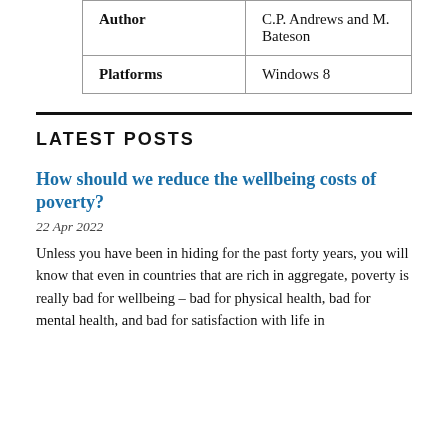|  |  |
| --- | --- |
| Author | C.P. Andrews and M. Bateson |
| Platforms | Windows 8 |
LATEST POSTS
How should we reduce the wellbeing costs of poverty?
22 Apr 2022
Unless you have been in hiding for the past forty years, you will know that even in countries that are rich in aggregate, poverty is really bad for wellbeing – bad for physical health, bad for mental health, and bad for satisfaction with life in